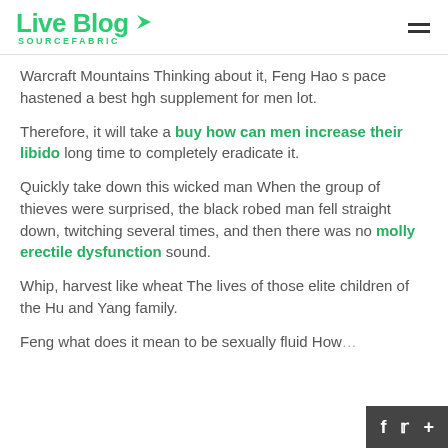Live Blog SOURCEFABRIC
Warcraft Mountains Thinking about it, Feng Hao s pace hastened a best hgh supplement for men lot.
Therefore, it will take a buy how can men increase their libido long time to completely eradicate it.
Quickly take down this wicked man When the group of thieves were surprised, the black robed man fell straight down, twitching several times, and then there was no molly erectile dysfunction sound.
Whip, harvest like wheat The lives of those elite children of the Hu and Yang family.
Feng what does it mean to be sexually fluid How…